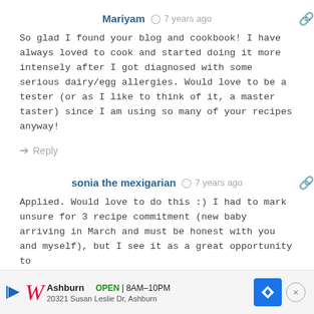Mariyam  7 years ago
So glad I found your blog and cookbook! I have always loved to cook and started doing it more intensely after I got diagnosed with some serious dairy/egg allergies. Would love to be a tester (or as I like to think of it, a master taster) since I am using so many of your recipes anyway!
Reply
sonia the mexigarian  7 years ago
Applied. Would love to do this :) I had to mark unsure for 3 recipe commitment (new baby arriving in March and must be honest with you and myself), but I see it as a great opportunity to get b... als for m... a
[Figure (infographic): Advertisement banner for Walgreens pharmacy. Shows Walgreens logo W, location Ashburn, OPEN 8AM-10PM, address 20321 Susan Leslie Dr, Ashburn, navigation icon, and close button.]